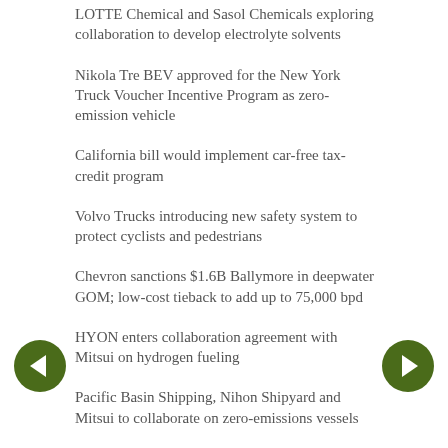LOTTE Chemical and Sasol Chemicals exploring collaboration to develop electrolyte solvents
Nikola Tre BEV approved for the New York Truck Voucher Incentive Program as zero-emission vehicle
California bill would implement car-free tax-credit program
Volvo Trucks introducing new safety system to protect cyclists and pedestrians
Chevron sanctions $1.6B Ballymore in deepwater GOM; low-cost tieback to add up to 75,000 bpd
HYON enters collaboration agreement with Mitsui on hydrogen fueling
Pacific Basin Shipping, Nihon Shipyard and Mitsui to collaborate on zero-emissions vessels
BASF introduces busbar holders made of Elastollan R 2600 FHF
CNGR, Finnish Minerals Group JV founded; producing precursor material in Hamina
Sunrise, Graphite One sign MOU on establishing US plant for